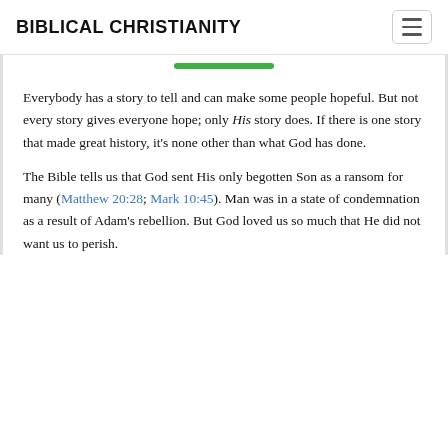BIBLICAL CHRISTIANITY
Everybody has a story to tell and can make some people hopeful. But not every story gives everyone hope; only His story does. If there is one story that made great history, it's none other than what God has done.
The Bible tells us that God sent His only begotten Son as a ransom for many (Matthew 20:28; Mark 10:45). Man was in a state of condemnation as a result of Adam's rebellion. But God loved us so much that He did not want us to perish.